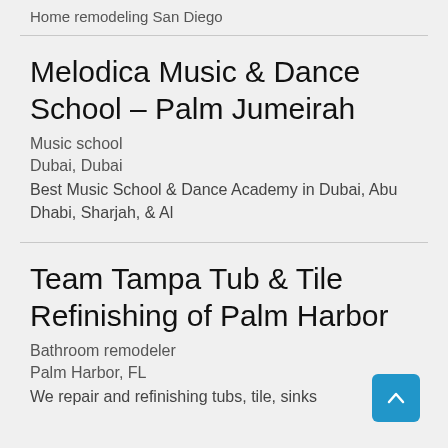Home remodeling San Diego
Melodica Music & Dance School – Palm Jumeirah
Music school
Dubai, Dubai
Best Music School & Dance Academy in Dubai, Abu Dhabi, Sharjah, & Al
Team Tampa Tub & Tile Refinishing of Palm Harbor
Bathroom remodeler
Palm Harbor, FL
We repair and refinishing tubs, tile, sinks